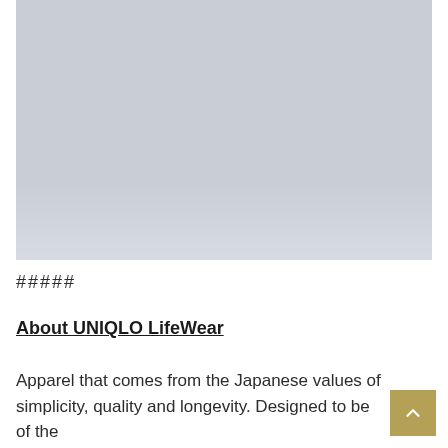[Figure (photo): A large rectangular image placeholder with a light blue-grey gradient background, representing a product or lifestyle photo.]
#####
About UNIQLO LifeWear
Apparel that comes from the Japanese values of simplicity, quality and longevity. Designed to be of the